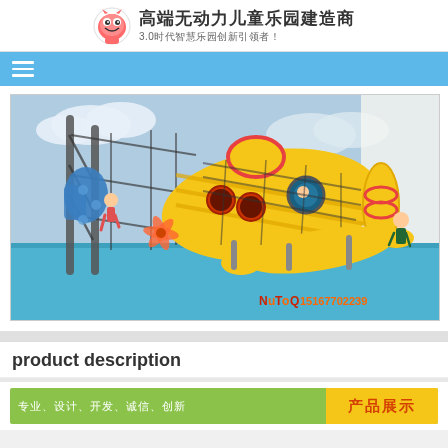高端无动力儿童乐园建造商 3.0时代智慧乐园创新引领者！
[Figure (photo): Children playground equipment featuring a large yellow submarine-shaped play structure with climbing nets, slides, and blue rubber flooring. Children are playing on the equipment. A phone number watermark 15167702239 is visible in the bottom right corner.]
product description
专业、设计、开发、诚信、创新  产品展示